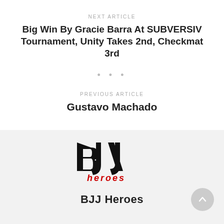NEXT ARTICLE
Big Win By Gracie Barra At SUBVERSIV Tournament, Unity Takes 2nd, Checkmat 3rd
• • •
PREVIOUS ARTICLE
Gustavo Machado
[Figure (logo): BJJ Heroes logo — stylized 'BJJ' letters in black with 'heroes' in red below]
BJJ Heroes